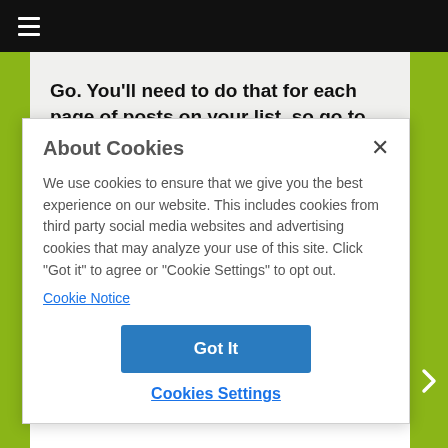≡
Go. You'll need to do that for each page of posts on your list, so go to page 2 and repeat the process.
About Cookies
We use cookies to ensure that we give you the best experience on our website. This includes cookies from third party social media websites and advertising cookies that may analyze your use of this site. Click "Got it" to agree or "Cookie Settings" to opt out.
Cookie Notice
Got It
Cookies Settings